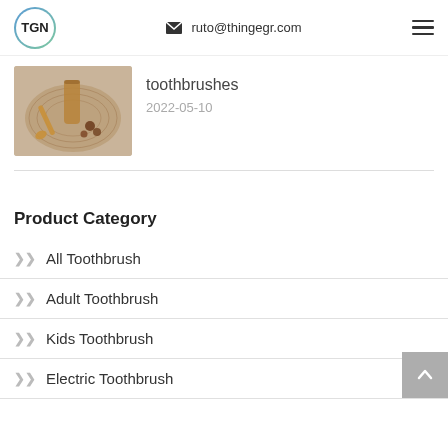TGN | ruto@thingegr.com
[Figure (photo): Photo of bamboo/wooden items on a wicker plate — eco-friendly toothbrush products]
toothbrushes
2022-05-10
Product Category
All Toothbrush
Adult Toothbrush
Kids Toothbrush
Electric Toothbrush